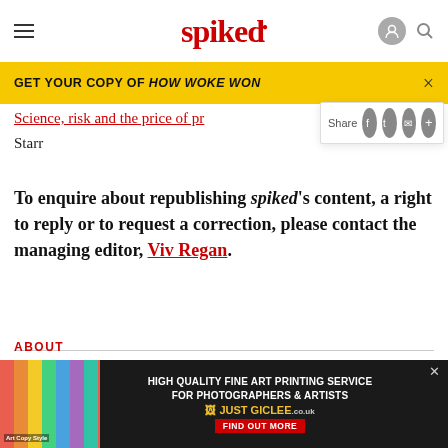spiked
GET YOUR COPY OF HOW WOKE WON
Science, risk and the price of pr...
Starr
To enquire about republishing spiked's content, a right to reply or to request a correction, please contact the managing editor, Viv Regan.
Share
Topics  POLITICS
HIGH QUALITY FINE ART PRINTING SERVICE FOR PHOTOGRAPHERS & ARTISTS JUST GICLEE...